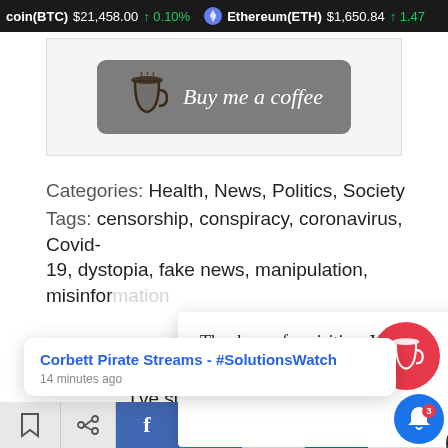coin(BTC) $21,458.00 ↑ 0.10% Ethereum(ETH) $1,650.84 ↑ 1.47
[Figure (screenshot): Buy me a coffee button with grey background and coffee cup icon]
Categories: Health, News, Politics, Society
Tags: censorship, conspiracy, coronavirus, Covid-19, dystopia, fake news, manipulation, misinformation
[Figure (screenshot): Thank you for visiting. You can now buy me a coffee! popup with X close button]
[Figure (screenshot): Red circular floating action button with coffee cup icon]
I've signed death certificates during
ust any of
[Figure (screenshot): Corbett Pirate Streams - #SolutionsWatch notification popup, 14 minutes ago]
[Figure (screenshot): Bottom social sharing bar with bookmark, share, Facebook, Messenger, email, LinkedIn icons]
[Figure (screenshot): Blue bell notification button with red badge showing 3]